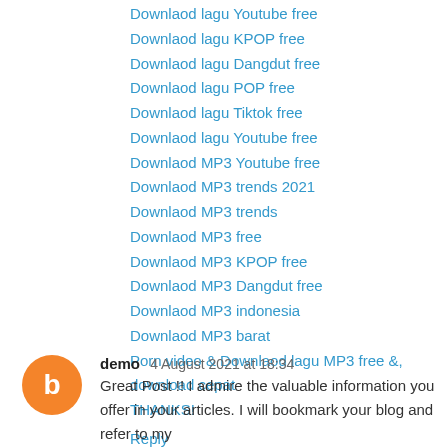Downlaod lagu Youtube free
Downlaod lagu KPOP free
Downlaod lagu Dangdut free
Downlaod lagu POP free
Downlaod lagu Tiktok free
Downlaod lagu Youtube free
Downlaod MP3 Youtube free
Downlaod MP3 trends 2021
Downlaod MP3 trends
Downlaod MP3 free
Downlaod MP3 KPOP free
Downlaod MP3 Dangdut free
Downlaod MP3 indonesia
Downlaod MP3 barat
Porn video & Downlaod lagu MP3 free &, download cepat
THANKS!
Reply
demo 4 August 2021 at 18:34
Great Post !! I admire the valuable information you offer in your articles. I will bookmark your blog and refer to my